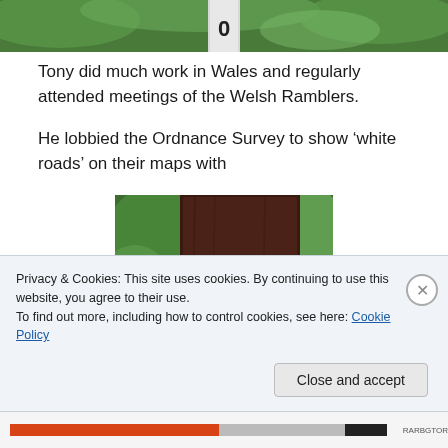[Figure (photo): Top cropped photo showing green foliage and a signpost with a number (0) visible]
Tony did much work in Wales and regularly attended meetings of the Welsh Ramblers.
He lobbied the Ordnance Survey to show ‘white roads’ on their maps with
[Figure (photo): Photo of a dark wooden post/board surrounded by green ivy/hedgerow, with a small pale plaque reading 'This memorial is dedicated to']
Privacy & Cookies: This site uses cookies. By continuing to use this website, you agree to their use.
To find out more, including how to control cookies, see here: Cookie Policy
Close and accept